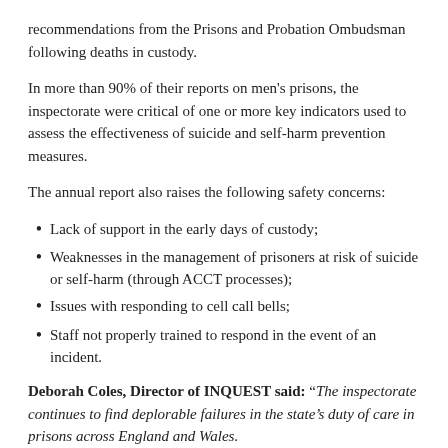recommendations from the Prisons and Probation Ombudsman following deaths in custody.
In more than 90% of their reports on men's prisons, the inspectorate were critical of one or more key indicators used to assess the effectiveness of suicide and self-harm prevention measures.
The annual report also raises the following safety concerns:
Lack of support in the early days of custody;
Weaknesses in the management of prisoners at risk of suicide or self-harm (through ACCT processes);
Issues with responding to cell call bells;
Staff not properly trained to respond in the event of an incident.
Deborah Coles, Director of INQUEST said: “The inspectorate continues to find deplorable failures in the state’s duty of care in prisons across England and Wales.